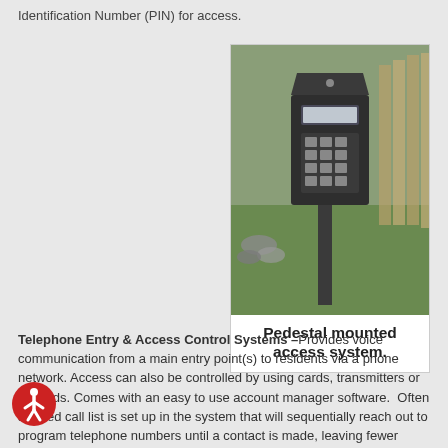Identification Number (PIN) for access.
[Figure (photo): A pedestal-mounted access control system with keypad, standing on a grass lawn next to decorative rocks and a wooden fence.]
Pedestal mounted access system.
Telephone Entry & Access Control Systems –Provides voice communication from a main entry point(s) to residents via a phone network. Access can also be controlled by using cards, transmitters or keypads. Comes with an easy to use account manager software. Often a tiered call list is set up in the system that will sequentially reach out to program telephone numbers until a contact is made, leaving fewer visitors stranded at